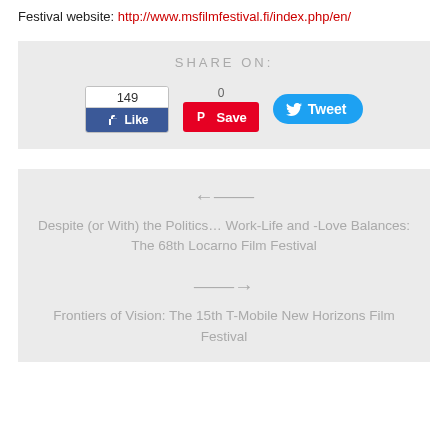Festival website: http://www.msfilmfestival.fi/index.php/en/
SHARE ON:
[Figure (infographic): Social sharing buttons: Facebook Like (149 likes), Pinterest Save (0 saves), Twitter Tweet]
Despite (or With) the Politics… Work-Life and -Love Balances: The 68th Locarno Film Festival
Frontiers of Vision: The 15th T-Mobile New Horizons Film Festival